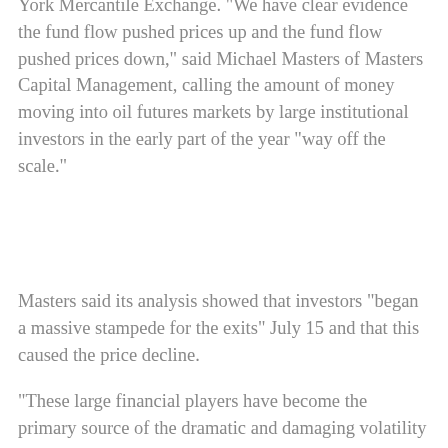York Mercantile Exchange. "We have clear evidence the fund flow pushed prices up and the fund flow pushed prices down," said Michael Masters of Masters Capital Management, calling the amount of money moving into oil futures markets by large institutional investors in the early part of the year "way off the scale."
Masters said its analysis showed that investors "began a massive stampede for the exits" July 15 and that this caused the price decline.
"These large financial players have become the primary source of the dramatic and damaging volatility seen in oil prices," the report concluded.
The report was released Wednesday by House and Senate sponsors of bills to put additional curbs on oil market speculation and comes in advance of a report on speculation that might be released this week by the Commodity Futures Trading Commission, which regulates commodity